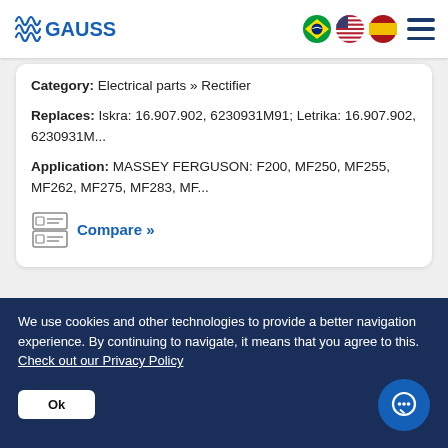GAUSS
Category: Electrical parts » Rectifier
Replaces: Iskra: 16.907.902, 6230931M91; Letrika: 16.907.902, 6230931M...
Application: MASSEY FERGUSON: F200, MF250, MF255, MF262, MF275, MF283, MF...
Compare »
[Figure (engineering-diagram): Partial view of an electrical rectifier component with terminal labels B+ and W]
We use cookies and other technologies to provide a better navigation experience. By continuing to navigate, it means that you agree to this. Check out our Privacy Policy
Ok